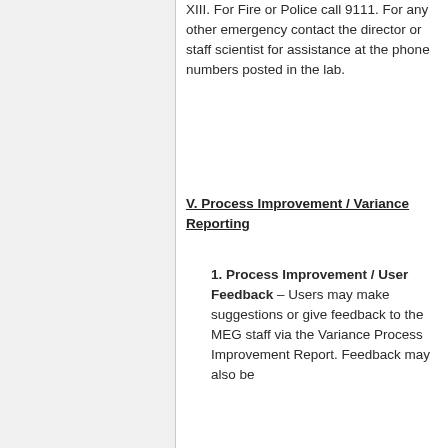XIII. For Fire or Police call 9111. For any other emergency contact the director or staff scientist for assistance at the phone numbers posted in the lab.
V. Process Improvement / Variance Reporting
1. Process Improvement / User Feedback – Users may make suggestions or give feedback to the MEG staff via the Variance Process Improvement Report. Feedback may also be